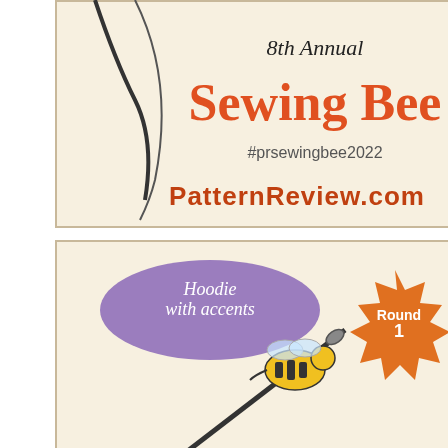[Figure (illustration): 8th Annual Sewing Bee banner (top, cropped) showing a needle and thread illustration with text '8th Annual Sewing Bee', '#prsewingbee2022', and 'PatternReview.com' on a cream background]
[Figure (illustration): 8th Annual Sewing Bee Round 1 banner — full banner with purple oval 'Hoodie with accents' label, orange starburst 'Round 1' badge, bee on needle illustration, text '8th Annual Sewing Bee', 'April 4th - May 28th', '#prsewingbee2022', 'PatternReview.com' on cream background]
Awards
[Figure (illustration): Partial 'I won!' award badge banner (cropped at bottom) with cream background, red 'I won!' text, green 'Round' badge, and PatternReview.com logo]